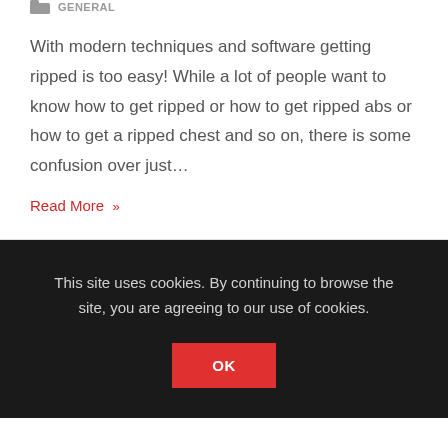GENERAL
With modern techniques and software getting ripped is too easy! While a lot of people want to know how to get ripped or how to get ripped abs or how to get a ripped chest and so on, there is some confusion over just…
Read More »
This site uses cookies. By continuing to browse the site, you are agreeing to our use of cookies.
OK